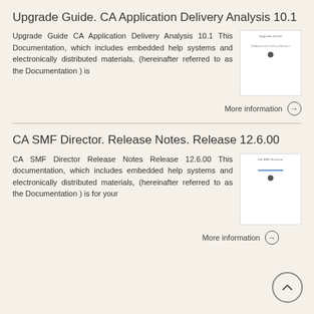Upgrade Guide. CA Application Delivery Analysis 10.1
Upgrade Guide CA Application Delivery Analysis 10.1 This Documentation, which includes embedded help systems and electronically distributed materials, (hereinafter referred to as the Documentation ) is
[Figure (screenshot): Thumbnail image of the Upgrade Guide CA Application Delivery Analysis document cover page]
More information →
CA SMF Director. Release Notes. Release 12.6.00
CA SMF Director Release Notes Release 12.6.00 This documentation, which includes embedded help systems and electronically distributed materials, (hereinafter referred to as the Documentation ) is for your
[Figure (screenshot): Thumbnail image of the CA SMF Director Release Notes document cover page]
More information →